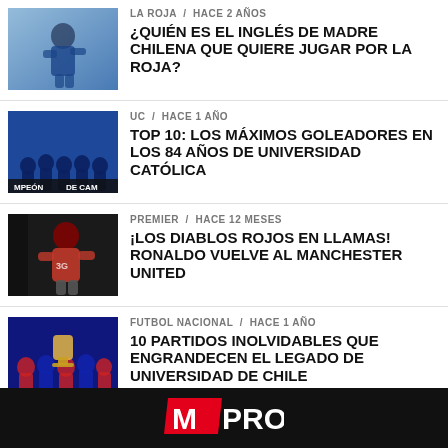[Figure (photo): Soccer player in blue/white kit celebrating]
LA ROJA / hace 2 años
¿QUIÉN ES EL INGLÉS DE MADRE CHILENA QUE QUIERE JUGAR POR LA ROJA?
[Figure (photo): UC team celebrating championship]
UC / hace 1 año
TOP 10: LOS MÁXIMOS GOLEADORES EN LOS 84 AÑOS DE UNIVERSIDAD CATÓLICA
[Figure (photo): Ronaldo in Manchester United red jersey]
PREMIER / hace 12 meses
¡LOS DIABLOS ROJOS EN LLAMAS! RONALDO VUELVE AL MANCHESTER UNITED
[Figure (photo): Universidad de Chile players celebrating with trophy]
FUTBOL NACIONAL / hace 1 año
10 PARTIDOS INOLVIDABLES QUE ENGRANDECEN EL LEGADO DE UNIVERSIDAD DE CHILE
[Figure (logo): MPRO logo in footer]